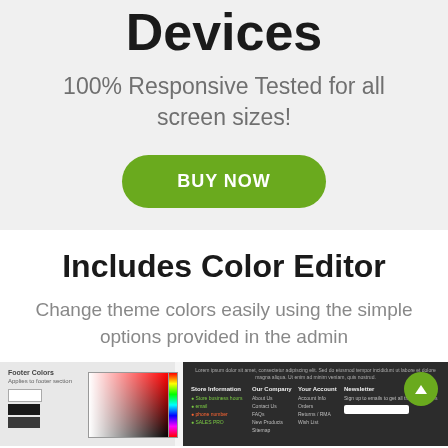Devices
100% Responsive Tested for all screen sizes!
BUY NOW
Includes Color Editor
Change theme colors easily using the simple options provided in the admin
[Figure (screenshot): Screenshot showing a color editor panel on the left with color swatches and a gradient color picker, and a dark-themed footer preview on the right with columns for Store Information, Our Company, Your Account, and Newsletter, plus a green circular back-to-top button.]